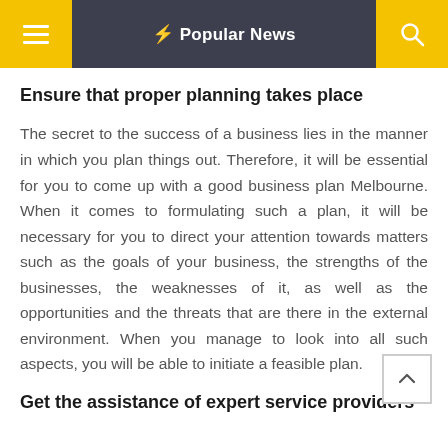⚡ Popular News
Ensure that proper planning takes place
The secret to the success of a business lies in the manner in which you plan things out. Therefore, it will be essential for you to come up with a good business plan Melbourne. When it comes to formulating such a plan, it will be necessary for you to direct your attention towards matters such as the goals of your business, the strengths of the businesses, the weaknesses of it, as well as the opportunities and the threats that are there in the external environment. When you manage to look into all such aspects, you will be able to initiate a feasible plan.
Get the assistance of expert service providers